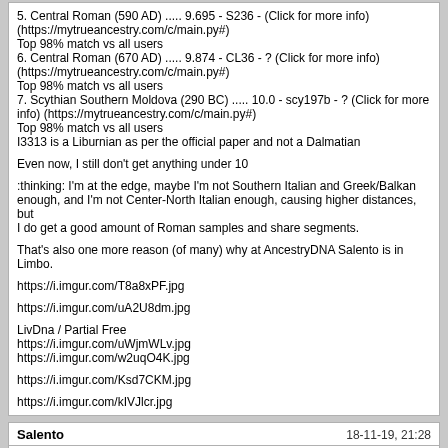5. Central Roman (590 AD) ..... 9.695 - S236 - (Click for more info) (https://mytrueancestry.com/c/main.py#)
Top 98% match vs all users
6. Central Roman (670 AD) ..... 9.874 - CL36 - ? (Click for more info) (https://mytrueancestry.com/c/main.py#)
Top 98% match vs all users
7. Scythian Southern Moldova (290 BC) ..... 10.0 - scy197b - ? (Click for more info) (https://mytrueancestry.com/c/main.py#)
Top 98% match vs all users
I3313 is a Liburnian as per the official paper and not a Dalmatian

Even now, I still don't get anything under 10

:thinking: I'm at the edge, maybe I'm not Southern Italian and Greek/Balkan enough, and I'm not Center-North Italian enough, causing higher distances, but I do get a good amount of Roman samples and share segments.

That's also one more reason (of many) why at AncestryDNA Salento is in Limbo.

https://i.imgur.com/T8a8xPF.jpg

https://i.imgur.com/uA2U8dm.jpg

LivDna / Partial Free
https://i.imgur.com/uWjmWLv.jpg
https://i.imgur.com/w2uqO4K.jpg

https://i.imgur.com/Ksd7CKM.jpg

https://i.imgur.com/kIVJlcr.jpg
Salento   18-11-19, 21:28
My ID :grin: :

https://i.imgur.com/ROQgQlN.jpg